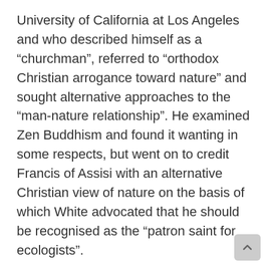University of California at Los Angeles and who described himself as a “churchman”, referred to “orthodox Christian arrogance toward nature” and sought alternative approaches to the “man-nature relationship”. He examined Zen Buddhism and found it wanting in some respects, but went on to credit Francis of Assisi with an alternative Christian view of nature on the basis of which White advocated that he should be recognised as the “patron saint for ecologists”.
In the Saturday Review of 2 December 1967, Richard L Means, associate professor of sociology at the College of Kalamazoo in Michigan, extended White’s concept and suggested that there may be a “sound instinct” at work in those who have turned to Zen Buddhism.
While Dr Schaeffer was in agreement with the perception of ecologists and environmentalists that modern man’s